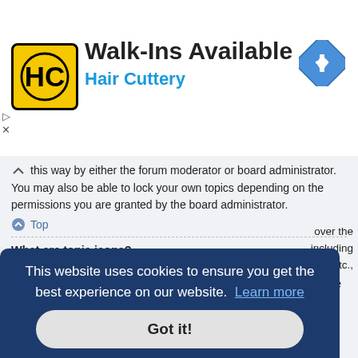[Figure (infographic): Hair Cuttery advertisement banner with logo, 'Walk-Ins Available' title, and navigation icon]
this way by either the forum moderator or board administrator. You may also be able to lock your own topics depending on the permissions you are granted by the board administrator.
Top
What are topic icons?
Topic icons are author chosen images associated with posts to indicate their content. The ability to use topic icons depends on the permissions set by the board administrator.
This website uses cookies to ensure you get the best experience on our website. Learn more
Got it!
over the including s, etc., dependent upon the board founder and what permissions he or she has given